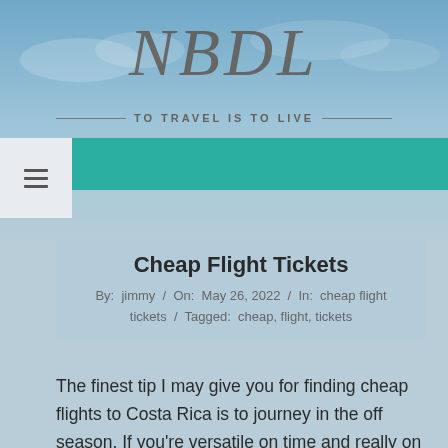[Figure (photo): Sky background with light blue gradient, travel blog header image]
NBDL
TO TRAVEL IS TO LIVE
≡ (navigation menu icon)
Cheap Flight Tickets
By: jimmy / On: May 26, 2022 / In: cheap flight tickets / Tagged: cheap, flight, tickets
The finest tip I may give you for finding cheap flights to Costa Rica is to journey in the off season. If you're versatile on time and really on a finances, then you need to go to Costa Rica throughout our low season (May, June, September and October). Right after US Thanksgiving and earlier than mid-December and the